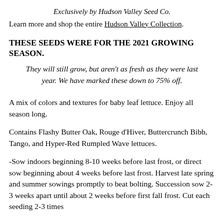Exclusively by Hudson Valley Seed Co.
Learn more and shop the entire Hudson Valley Collection.
THESE SEEDS WERE FOR THE 2021 GROWING SEASON.
They will still grow, but aren't as fresh as they were last year. We have marked these down to 75% off.
A mix of colors and textures for baby leaf lettuce. Enjoy all season long.
Contains Flashy Butter Oak, Rouge d'Hiver, Buttercrunch Bibb, Tango, and Hyper-Red Rumpled Wave lettuces.
-Sow indoors beginning 8-10 weeks before last frost, or direct sow beginning about 4 weeks before last frost. Harvest late spring and summer sowings promptly to beat bolting. Succession sow 2-3 weeks apart until about 2 weeks before first fall frost. Cut each seeding 2-3 times